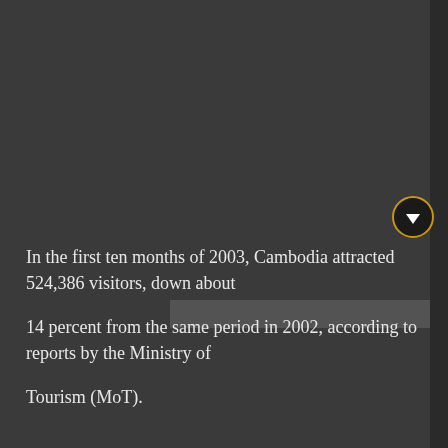In the first ten months of 2003, Cambodia attracted 524,386 visitors, down about 14 percent from the same period in 2002, according to reports by the Ministry of Tourism (MoT).